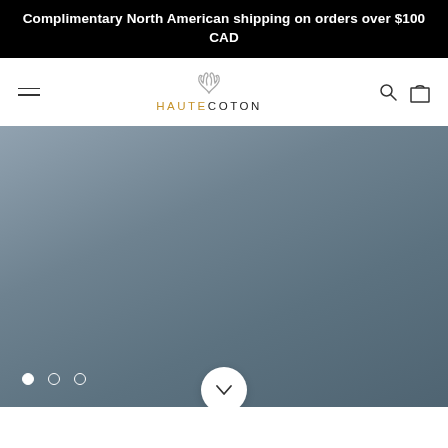Complimentary North American shipping on orders over $100 CAD
[Figure (logo): Haute Coton brand logo with antler graphic above the text HAUTECOTON, where HAUTE is in gold/amber and COTON is in dark charcoal]
[Figure (photo): Hero image slideshow area with blue-grey gradient background, three navigation dots at bottom left (first dot filled/active, two empty), and a white circular scroll-down button at the bottom center with a chevron down icon]